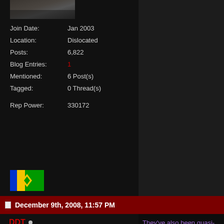[Figure (photo): Cropped wrestling event photo at top of user sidebar]
Join Date: Jan 2003
Location: Dislocated
Posts: 6,822
Blog Entries: 1
Mentioned: 6 Post(s)
Tagged: 0 Thread(s)
Rep Power: 330172
[Figure (illustration): Flag of Saint Vincent and the Grenadines]
December 9th, 2008, 11:57 PM
DDT
RIP Indy Wrestling
[Figure (logo): Freelance Wrestling logo - teal skull with circular text]
They've also been quasi-buildin since Death Before Dishonor th